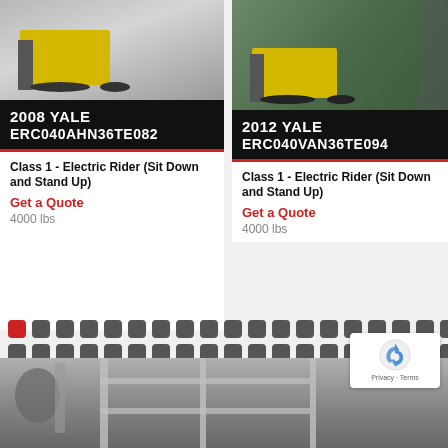[Figure (photo): Photo of 2008 Yale forklift ERC040AHN36TE082, yellow and black, on pavement]
2008 YALE ERC040AHN36TE082
Class 1 - Electric Rider (Sit Down and Stand Up)
Get a Quote
4000 lbs
[Figure (photo): Photo of 2012 Yale forklift ERC040VAN36TE094, yellow and black, indoors against green wall]
2012 YALE ERC040VAN36TE094
Class 1 - Electric Rider (Sit Down and Stand Up)
Get a Quote
4000 lbs
[Figure (photo): Bottom strip photo showing a vehicle with side mirror and metal rack]
[Figure (logo): Google reCAPTCHA badge with recycling arrow logo and Privacy · Terms link]